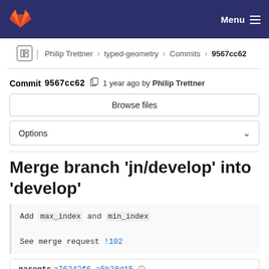[Figure (screenshot): GitLab navigation bar with logo and Menu hamburger icon on dark blue background]
Philip Trettner > typed-geometry > Commits > 9567cc62
Commit 9567cc62 [copy icon] 1 year ago by Philip Trettner
Browse files
Options
Merge branch 'jn/develop' into 'develop'
Add `max_index` and `min_index`

See merge request !102
parents a76242f6 a5b28d15